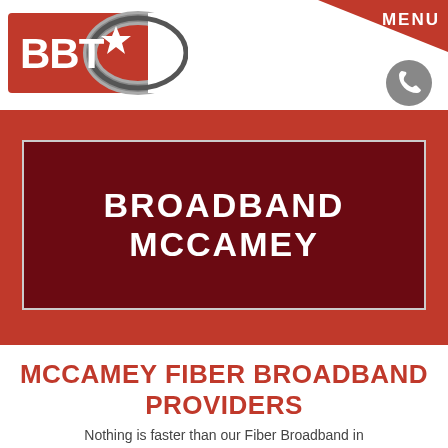[Figure (logo): BBT logo with red background, white BBT text, star and swoosh graphic]
MENU
[Figure (illustration): Gray phone/call icon circle]
BROADBAND MCCAMEY
MCCAMEY FIBER BROADBAND PROVIDERS
Nothing is faster than our Fiber Broadband in